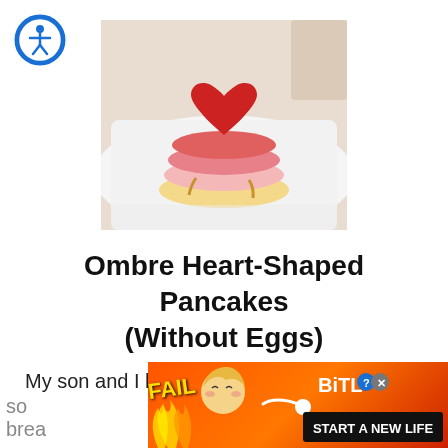[Figure (logo): Blue circle accessibility icon with white stick figure person]
[Figure (photo): Stack of ombre heart-shaped pancakes on a white plate, ranging from red on top to yellow/white on bottom]
Ombre Heart-Shaped Pancakes (Without Eggs)
My son and I have been sick for a week now,
so
brea
[Figure (screenshot): BitLife advertisement banner with orange-red background, FAIL text, cartoon character, flames, and START A NEW LIFE tagline]